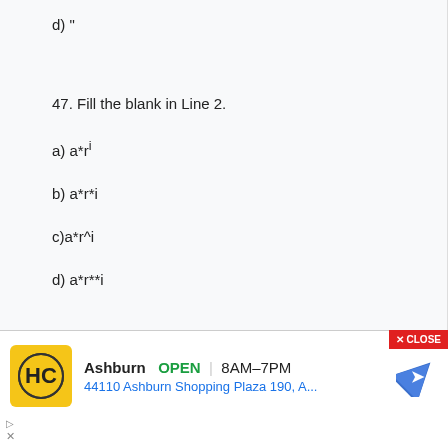d) "
47. Fill the blank in Line 2.
a) a*r^i
b) a*r*i
c)a*r^i
d) a*r**i
48. Fill the blank in Line 3.